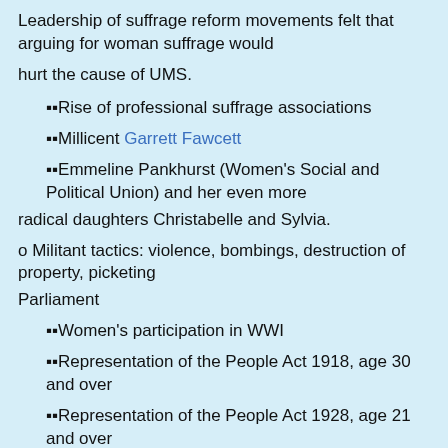Leadership of suffrage reform movements felt that arguing for woman suffrage would
hurt the cause of UMS.
Rise of professional suffrage associations
Millicent Garrett Fawcett
Emmeline Pankhurst (Women's Social and Political Union) and her even more radical daughters Christabelle and Sylvia.
o Militant tactics: violence, bombings, destruction of property, picketing Parliament
Women's participation in WWI
Representation of the People Act 1918, age 30 and over
Representation of the People Act 1928, age 21 and over
Female suffrage after WWI in Western and Central Europe